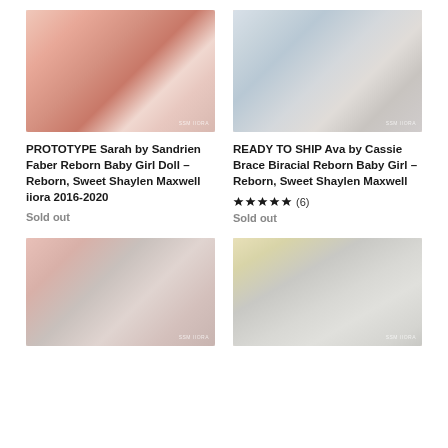[Figure (photo): Close-up photo of a reborn baby girl doll with pink outfit, lying down, realistic appearance]
PROTOTYPE Sarah by Sandrien Faber Reborn Baby Girl Doll – Reborn, Sweet Shaylen Maxwell iiora 2016-2020
Sold out
[Figure (photo): Close-up photo of a biracial reborn baby girl doll in pink outfit, realistic appearance]
READY TO SHIP Ava by Cassie Brace Biracial Reborn Baby Girl – Reborn, Sweet Shaylen Maxwell
(6) Sold out
[Figure (photo): Close-up photo of a reborn baby doll face with pink background]
[Figure (photo): Close-up photo of a reborn baby doll face with light background and yellow accent]